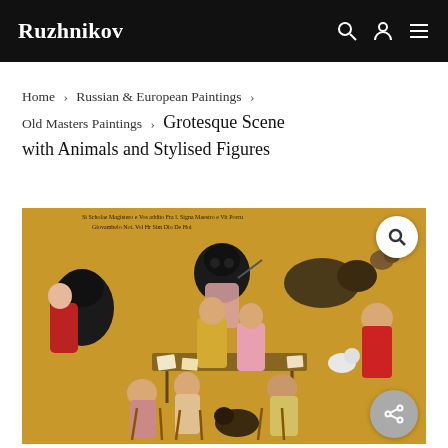Ruzhnikov
Home > Russian & European Paintings > Old Masters Paintings > Grotesque Scene with Animals and Stylised Figures
[Figure (photo): An old master painting depicting a grotesque scene with animals with human heads and stylised figures in a chaotic classroom or tavern setting. The painting has dark animals (bear-like creatures) interacting with human figures in period dress against a golden-brown background. There is text inscription at the top of the painting.]